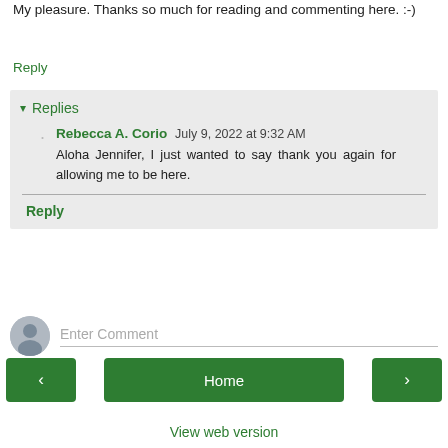My pleasure. Thanks so much for reading and commenting here. :-)
Reply
Replies
Rebecca A. Corio  July 9, 2022 at 9:32 AM
Aloha Jennifer, I just wanted to say thank you again for allowing me to be here.
Reply
Enter Comment
Home
View web version